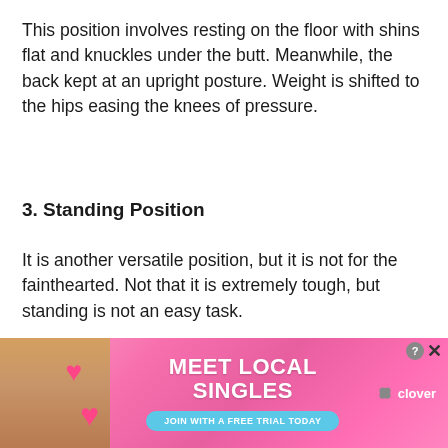This position involves resting on the floor with shins flat and knuckles under the butt. Meanwhile, the back kept at an upright posture. Weight is shifted to the hips easing the knees of pressure.
3. Standing Position
It is another versatile position, but it is not for the fainthearted. Not that it is extremely tough, but standing is not an easy task.
This position requires you to be rooted to the ground and hands placed alongside the body where it feels...
[Figure (photo): Advertisement banner with pink/magenta gradient background showing a woman on the left side with hearts, bold text 'MEET LOCAL SINGLES', a teal button 'JOIN WITH A FREE TRIAL TODAY', and Clover dating app logo on the right.]